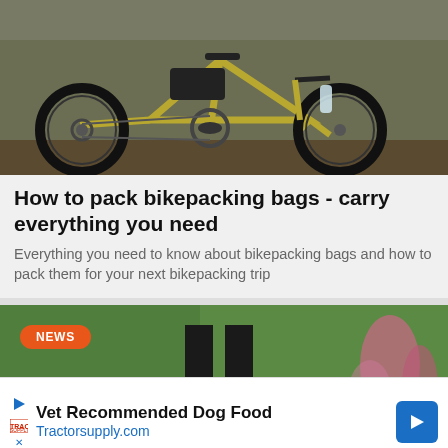[Figure (photo): A gold/olive colored mountain bike with black components and a frame bag, parked on a dirt path with foliage in the background.]
How to pack bikepacking bags - carry everything you need
Everything you need to know about bikepacking bags and how to pack them for your next bikepacking trip
[Figure (photo): A person in black pants standing over a red mountain bike in a green field with pink flowers. A NEWS badge is overlaid on the top-left.]
Vet Recommended Dog Food Tractorsupply.com
Tra